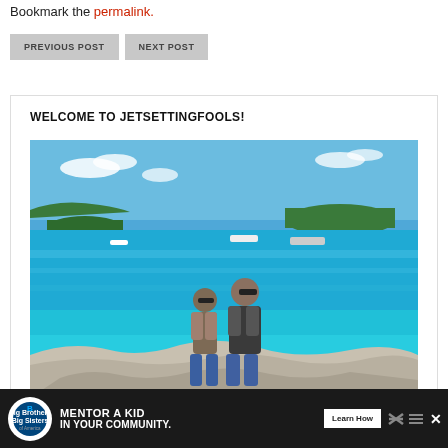Bookmark the permalink.
PREVIOUS POST | NEXT POST
WELCOME TO JETSETTINGFOOLS!
[Figure (photo): A couple standing on rocky shore with bright turquoise water, boats, and green islands in the background under a blue sky.]
[Figure (infographic): Advertisement bar: Big Brothers Big Sisters logo, text MENTOR A KID IN YOUR COMMUNITY., Learn How button, decorative icons, close buttons.]